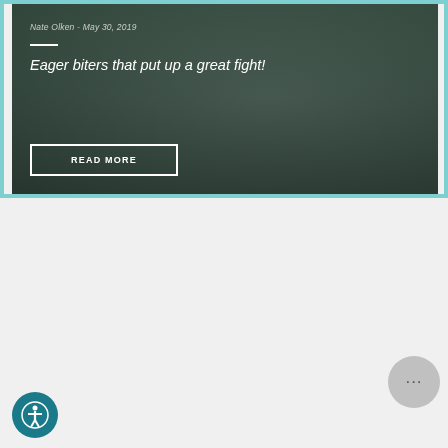[Figure (photo): Person in a kayak on water with another kayaker in background, overcast day. Article card with teal border.]
Nate Olken - May 30, 2019
Eager biters that put up a great fight!
READ MORE
[Figure (photo): Person fishing from a kayak on a lake with overcast sky and bare trees in background. Article card with green border.]
Inform
Video: Top 5 Hobie Fishing Kayak...
Hunter Morford - Aug 23, 2018
Create a system that works for you!
READ MORE